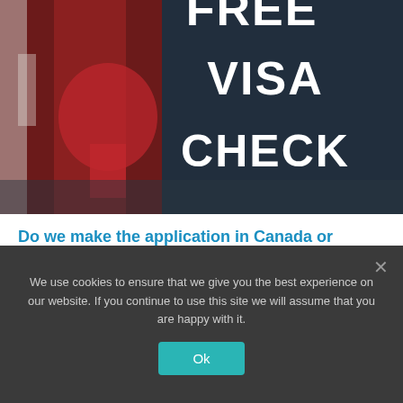[Figure (illustration): Dark background image with a Canadian flag on the left side and large white bold text reading 'FREE VISA CHECK' on the right portion of the image.]
Do we make the application in Canada or Wyoming
If the sponsor is a full Canadian Citizen then the application can be made outside of Canada, in Wyoming or elsewhere.
We use cookies to ensure that we give you the best experience on our website. If you continue to use this site we will assume that you are happy with it.